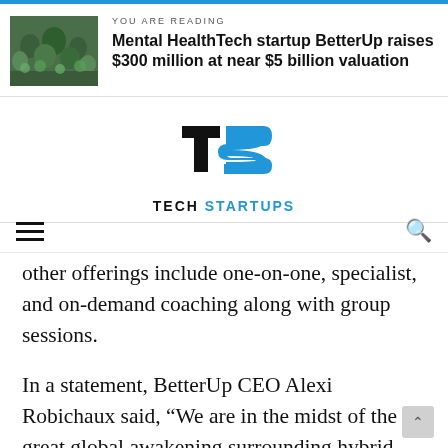YOU ARE READING
Mental HealthTech startup BetterUp raises $300 million at near $5 billion valuation
[Figure (logo): Tech Startups logo with black T and blue S letters and text TECH STARTUPS below]
other offerings include one-on-one, specialist, and on-demand coaching along with group sessions.
In a statement, BetterUp CEO Alexi Robichaux said, “We are in the midst of the great global awakening surrounding hybrid work, mental health and well-being, and diversity and inclusion. Never has the pressure been greater on our global workforce, and